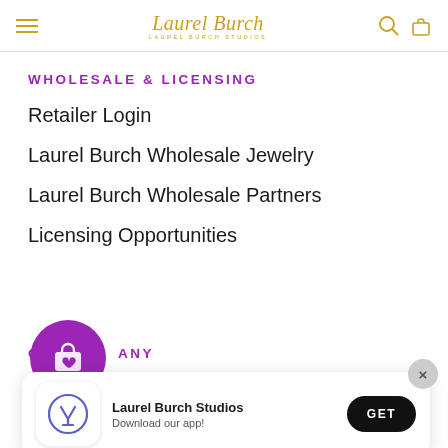Laurel Burch Studios navigation header
WHOLESALE & LICENSING
Retailer Login
Laurel Burch Wholesale Jewelry
Laurel Burch Wholesale Partners
Licensing Opportunities
[Figure (illustration): Purple circular button with shopping bag and heart icon]
COMPANY
[Figure (screenshot): App download banner: Laurel Burch Studios, Download our app!, with GET button and close X button]
Terms & Conditions